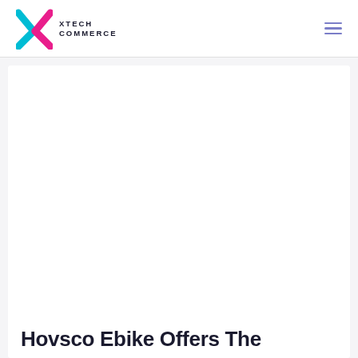XTECH COMMERCE
[Figure (illustration): Large white/blank article hero image area inside a white card on a light gray background]
Hovsco Ebike Offers The